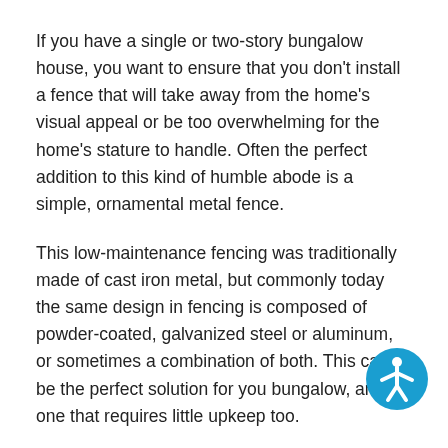If you have a single or two-story bungalow house, you want to ensure that you don't install a fence that will take away from the home's visual appeal or be too overwhelming for the home's stature to handle. Often the perfect addition to this kind of humble abode is a simple, ornamental metal fence.
This low-maintenance fencing was traditionally made of cast iron metal, but commonly today the same design in fencing is composed of powder-coated, galvanized steel or aluminum, or sometimes a combination of both. This can be the perfect solution for you bungalow, and one that requires little upkeep too.
[Figure (illustration): Accessibility icon — a blue circle with a white stick figure person with arms outstretched]
Bringing up your home's appeal while adding to